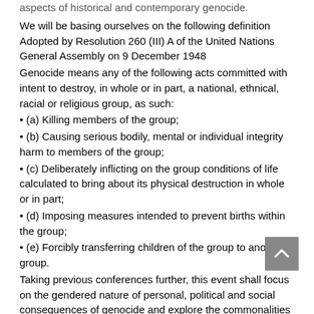aspects of historical and contemporary genocide.
We will be basing ourselves on the following definition Adopted by Resolution 260 (III) A of the United Nations General Assembly on 9 December 1948
Genocide means any of the following acts committed with intent to destroy, in whole or in part, a national, ethnical, racial or religious group, as such:
• (a) Killing members of the group;
• (b) Causing serious bodily, mental or individual integrity harm to members of the group;
• (c) Deliberately inflicting on the group conditions of life calculated to bring about its physical destruction in whole or in part;
• (d) Imposing measures intended to prevent births within the group;
• (e) Forcibly transferring children of the group to another group.
Taking previous conferences further, this event shall focus on the gendered nature of personal, political and social consequences of genocide and explore the commonalities experienced by generations growing up the shadow of genocide. The key notions to be explored here are trauma, memory and